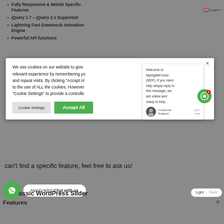Fully Responsive & Mobile Specific Features
jQuery 1.7 – jQuery 2.x Supported
Lightning Fast Greensock Animation Engine
Powerful API functions
We use cookies on our website to give relevant experience by remembering you and repeat visits. By clicking "Accept All" to the use of ALL the cookies. However "Cookie Settings" to provide a controlled consent.
Welcome to MydigitalForest (MDF), if you need help simply reply to this message, we are online and ready to help.
Customer Support   just now
can't find a specific feature, feel free to ask us!
Need Help? Chat with us
assic WordPress Slider
Features